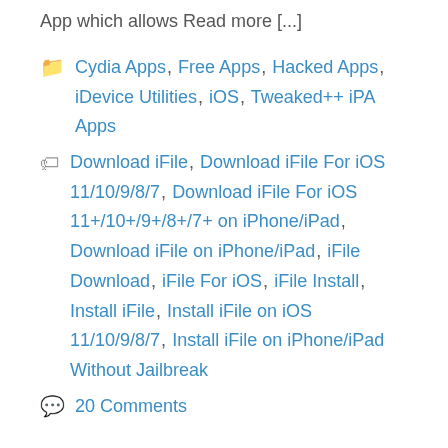App which allows Read more [...]
Cydia Apps, Free Apps, Hacked Apps, iDevice Utilities, iOS, Tweaked++ iPA Apps
Download iFile, Download iFile For iOS 11/10/9/8/7, Download iFile For iOS 11+/10+/9+/8+/7+ on iPhone/iPad, Download iFile on iPhone/iPad, iFile Download, iFile For iOS, iFile Install, Install iFile, Install iFile on iOS 11/10/9/8/7, Install iFile on iPhone/iPad Without Jailbreak
20 Comments
Download UFC++ on iOS